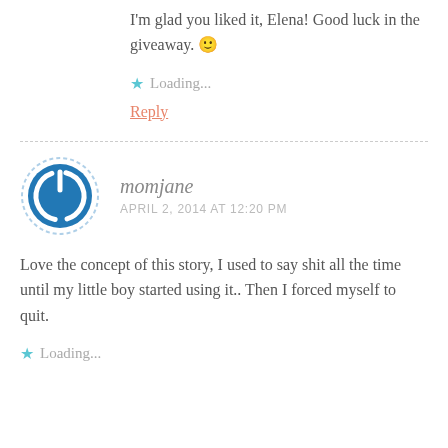I'm glad you liked it, Elena! Good luck in the giveaway. 🙂
Loading...
Reply
momjane
APRIL 2, 2014 AT 12:20 PM
Love the concept of this story, I used to say shit all the time until my little boy started using it.. Then I forced myself to quit.
Loading...